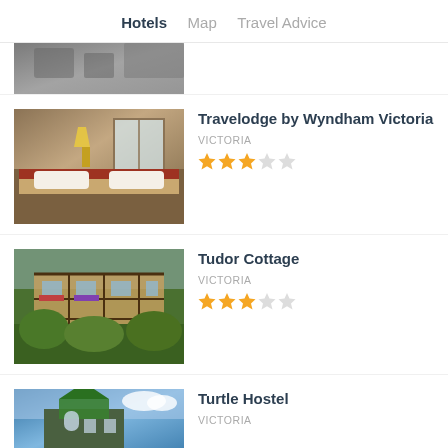Hotels   Map   Travel Advice
[Figure (photo): Partially cropped hotel/landscape image at top of listing]
Travelodge by Wyndham Victoria
VICTORIA
[Figure (other): Star rating: 3 out of 5 stars]
[Figure (photo): Hotel room interior with beds and lamps]
Tudor Cottage
VICTORIA
[Figure (other): Star rating: 3 out of 5 stars]
[Figure (photo): Tudor-style cottage exterior with flowers]
Turtle Hostel
VICTORIA